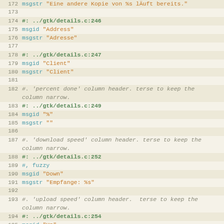172  msgstr "Eine andere Kopie von %s lÃ€uft bereits."
173
174  #: ../gtk/details.c:246
175  msgid "Address"
176  msgstr "Adresse"
177
178  #: ../gtk/details.c:247
179  msgid "Client"
180  msgstr "Client"
181
182  #. 'percent done' column header. terse to keep the column narrow.
183  #: ../gtk/details.c:249
184  msgid "%"
185  msgstr ""
186
187  #. 'download speed' column header. terse to keep the column narrow.
188  #: ../gtk/details.c:252
189  #, fuzzy
190  msgid "Down"
191  msgstr "Empfange: %s"
192
193  #. 'upload speed' column header.  terse to keep the column narrow.
194  #: ../gtk/details.c:254
195  msgid "Up"
196  msgstr ""
197
198  #: ../gtk/details.c:255
199  msgid "Status"
200  msgstr "Status"
201